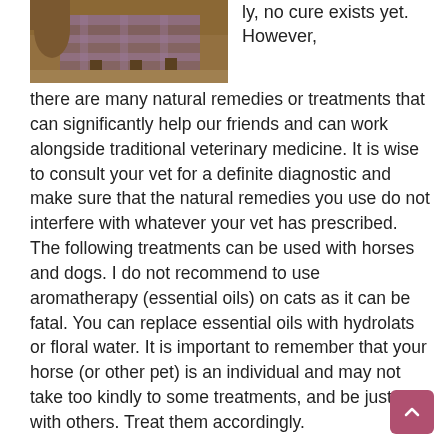[Figure (photo): Photo of a horse with a plaid blanket/rug, outdoors on dirt ground]
ly, no cure exists yet. However, there are many natural remedies or treatments that can significantly help our friends and can work alongside traditional veterinary medicine. It is wise to consult your vet for a definite diagnostic and make sure that the natural remedies you use do not interfere with whatever your vet has prescribed. The following treatments can be used with horses and dogs. I do not recommend to use aromatherapy (essential oils) on cats as it can be fatal. You can replace essential oils with hydrolats or floral water. It is important to remember that your horse (or other pet) is an individual and may not take too kindly to some treatments, and be just fine with others. Treat them accordingly.
Remedies
Aromatherapy and Clay